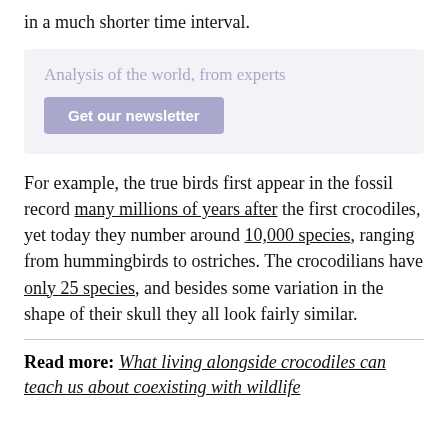in a much shorter time interval.
Analysis of the world, from experts
Get our newsletter
For example, the true birds first appear in the fossil record many millions of years after the first crocodiles, yet today they number around 10,000 species, ranging from hummingbirds to ostriches. The crocodilians have only 25 species, and besides some variation in the shape of their skull they all look fairly similar.
Read more: What living alongside crocodiles can teach us about coexisting with wildlife